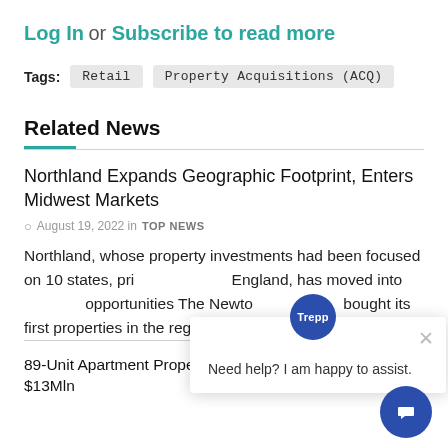Log In or Subscribe to read more
Tags: Retail   Property Acquisitions (ACQ)
Related News
Northland Expands Geographic Footprint, Enters Midwest Markets
August 19, 2022 in TOP NEWS
Northland, whose property investments had been focused on 10 states, pri... England, has moved into... opportunities The Newto... bought its first properties in the region, in...
89-Unit Apartment Property in Jacksonville, Fla., Sold for $13Mln